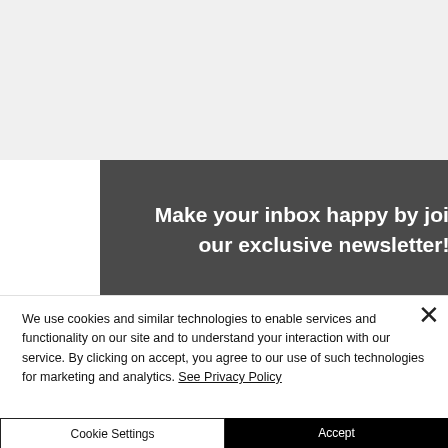[Figure (screenshot): Search bar with teal search button and magnifying glass icon]
[Figure (screenshot): Hamburger menu button (three horizontal lines)]
e/janet
Make your inbox happy by joining our exclusive newsletter!
[Figure (screenshot): Name text input field (white box)]
[Figure (screenshot): Email address text input field (partially visible)]
We use cookies and similar technologies to enable services and functionality on our site and to understand your interaction with our service. By clicking on accept, you agree to our use of such technologies for marketing and analytics. See Privacy Policy
Cookie Settings
Accept